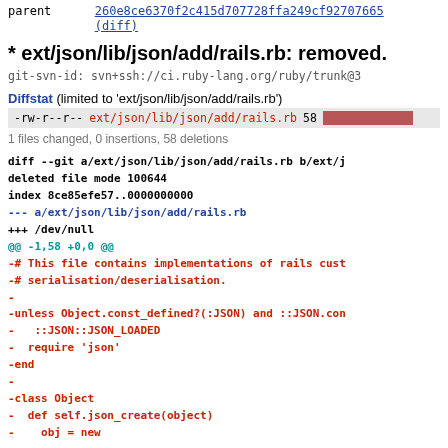parent   260e8ce6370f2c415d707728ffa249cf92707665
(diff)
* ext/json/lib/json/add/rails.rb: removed.
git-svn-id: svn+ssh://ci.ruby-lang.org/ruby/trunk@3...
Diffstat (limited to 'ext/json/lib/json/add/rails.rb')
| mode | file | count | bar |
| --- | --- | --- | --- |
| -rw-r--r-- | ext/json/lib/json/add/rails.rb | 58 |  |
1 files changed, 0 insertions, 58 deletions
diff --git a/ext/json/lib/json/add/rails.rb b/ext/j...
deleted file mode 100644
index 8ce85efe57..0000000000
--- a/ext/json/lib/json/add/rails.rb
+++ /dev/null
@@ -1,58 +0,0 @@
-# This file contains implementations of rails cust...
-# serialisation/deserialisation.
-
-unless Object.const_defined?(:JSON) and ::JSON.con...
-   ::JSON::JSON_LOADED
-  require 'json'
-end
-
-class Object
-  def self.json_create(object)
-    obj = new